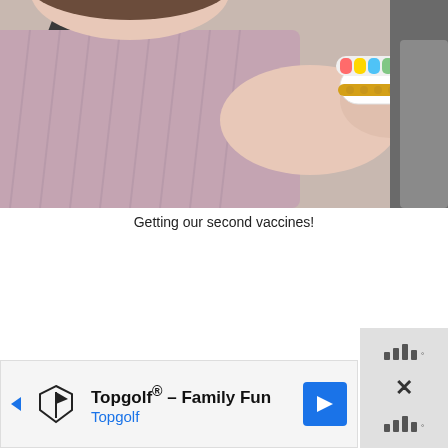[Figure (photo): Photo of a person in a car wearing a seatbelt, with a colorful beaded bracelet on their wrist, taken from close up. The person is wearing a mauve/pink ribbed top.]
Getting our second vaccines!
[Figure (screenshot): Advertisement banner for Topgolf - Family Fun / Topgolf with logo icon and blue navigation arrow. Side panel shows signal bars and X close button controls.]